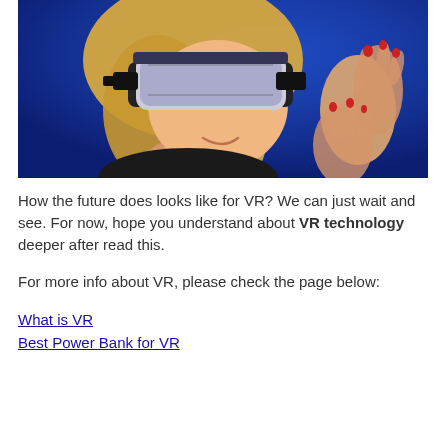[Figure (photo): A woman wearing a VR headset, smiling and raising her hands, against a blue background]
How the future does looks like for VR? We can just wait and see. For now, hope you understand about VR technology deeper after read this.
For more info about VR, please check the page below:
What is VR
Best Power Bank for VR